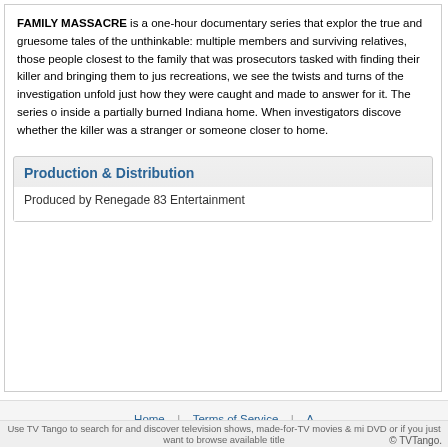FAMILY MASSACRE is a one-hour documentary series that explores the true and gruesome tales of the unthinkable: multiple members and surviving relatives, those people closest to the family that was prosecutors tasked with finding their killer and bringing them to just recreations, we see the twists and turns of the investigation unfold just how they were caught and made to answer for it. The series o inside a partially burned Indiana home. When investigators discove whether the killer was a stranger or someone closer to home.
Production & Distribution
Produced by Renegade 83 Entertainment
Home | Terms of Service |
Use TV Tango to search for and discover television shows, made-for-TV movies & mi DVD or if you just want to browse available title
© TVTango.